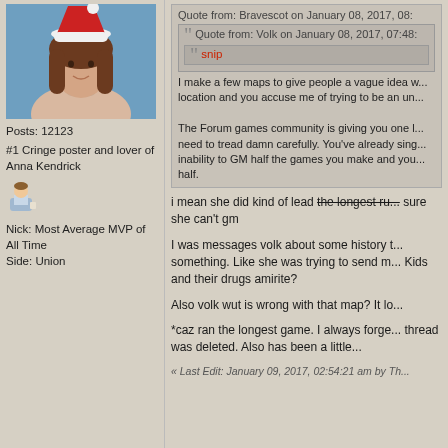[Figure (photo): Avatar photo of a woman wearing a red and white Santa hat with brown hair, against a blue background]
Posts: 12123
#1 Cringe poster and lover of Anna Kendrick
[Figure (other): User icon/avatar placeholder emoji]
Nick: Most Average MVP of All Time
Side: Union
Quote from: Bravescot on January 08, 2017, 08:
Quote from: Volk on January 08, 2017, 07:48:
snip
I make a few maps to give people a vague idea w... location and you accuse me of trying to be an un...
The Forum games community is giving you one l... need to tread damn carefully. You've already sing... inability to GM half the games you make and you... half.
i mean she did kind of lead the longest ru... sure she can't gm
I was messages volk about some history t... something. Like she was trying to send m... Kids and their drugs amirite?
Also volk wut is wrong with that map? It lo...
*caz ran the longest game. I always forge... thread was deleted. Also has been a little...
« Last Edit: January 09, 2017, 02:54:21 am by Th...